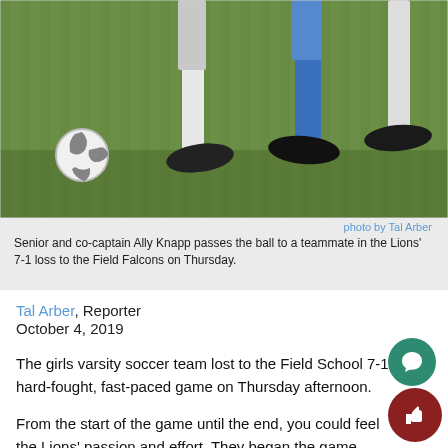[Figure (photo): Soccer players' legs on a grass field with a soccer ball, showing white and blue socks and dark shoes]
photo by Tal Arber
Senior and co-captain Ally Knapp passes the ball to a teammate in the Lions' 7-1 loss to the Field Falcons on Thursday.
Tal Arber, Reporter
October 4, 2019
The girls varsity soccer team lost to the Field School 7-1 in a hard-fought, fast-paced game on Thursday afternoon.
From the start of the game until the end, you could feel the Lions' passion and effort. They began the game passing very well and were able to get some